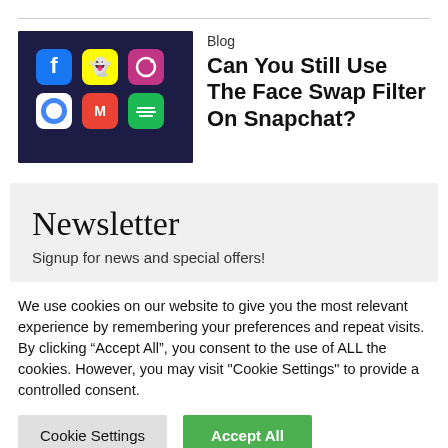[Figure (photo): Thumbnail image of a smartphone screen showing app icons including Facebook, Snapchat, Instagram, Chrome, Gmail, Spotify]
Blog
Can You Still Use The Face Swap Filter On Snapchat?
Newsletter
Signup for news and special offers!
We use cookies on our website to give you the most relevant experience by remembering your preferences and repeat visits. By clicking “Accept All”, you consent to the use of ALL the cookies. However, you may visit "Cookie Settings" to provide a controlled consent.
Cookie Settings
Accept All